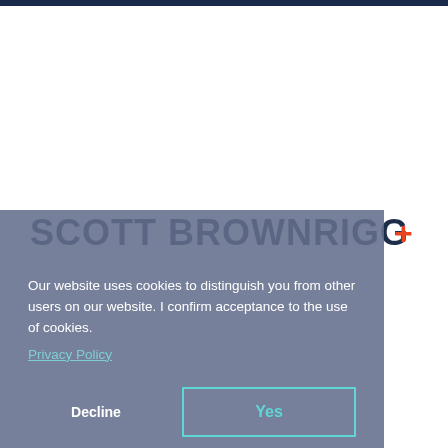[Figure (logo): Scott Brownrigg logo — bold dark navy uppercase text 'SCOTT BROWNRIGG' with a red/orange plus sign superscript]
Our website uses cookies to distinguish you from other users on our website. I confirm acceptance to the use of cookies.
Privacy Policy
Decline
Yes